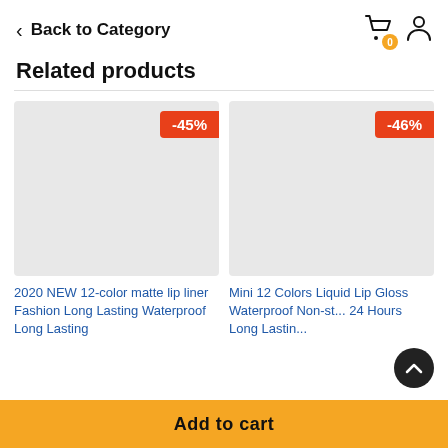< Back to Category
Related products
[Figure (photo): Product image placeholder with -45% discount badge (orange/red)]
[Figure (photo): Product image placeholder with -46% discount badge (orange/red)]
2020 NEW 12-color matte lip liner Fashion Long Lasting Waterproof Long Lasting
Mini 12 Colors Liquid Lip Gloss Waterproof Non-st... 24 Hours Long Lastin...
Add to cart